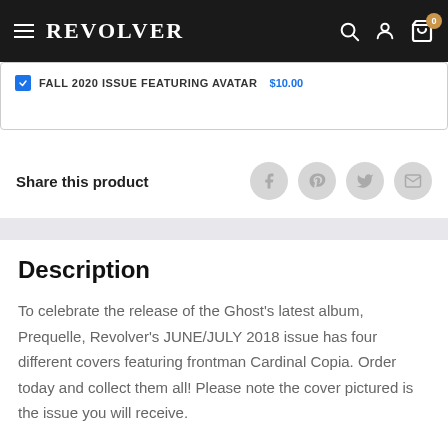REVOLVER
FALL 2020 ISSUE FEATURING AVATAR $10.00
Share this product
Description
To celebrate the release of the Ghost's latest album, Prequelle, Revolver's JUNE/JULY 2018 issue has four different covers featuring frontman Cardinal Copia. Order today and collect them all! Please note the cover pictured is the issue you will receive.